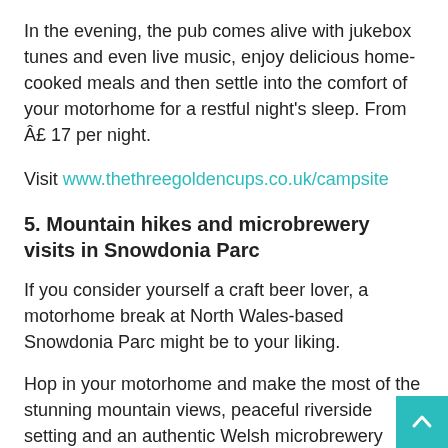In the evening, the pub comes alive with jukebox tunes and even live music, enjoy delicious home-cooked meals and then settle into the comfort of your motorhome for a restful night's sleep. From £ 17 per night.
Visit www.thethreegoldencups.co.uk/campsite
5. Mountain hikes and microbrewery visits in Snowdonia Parc
If you consider yourself a craft beer lover, a motorhome break at North Wales-based Snowdonia Parc might be to your liking.
Hop in your motorhome and make the most of the stunning mountain views, peaceful riverside setting and an authentic Welsh microbrewery famous for its range of delicious, award-winning beers.
Walk through the unspoiled landscapes at the foot of Snowden or board a traditional steam train with the Welsh Highland Railway to explore the nearby towns of Caernarfon and